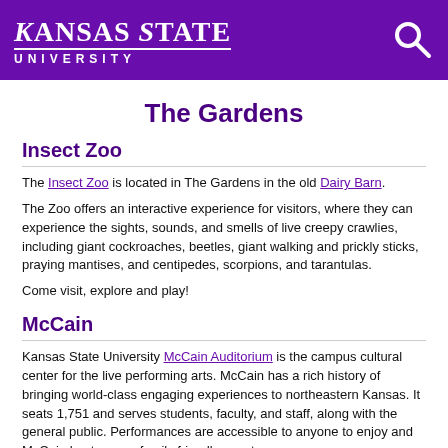Kansas State University
The Gardens
Insect Zoo
The Insect Zoo is located in The Gardens in the old Dairy Barn.
The Zoo offers an interactive experience for visitors, where they can experience the sights, sounds, and smells of live creepy crawlies, including giant cockroaches, beetles, giant walking and prickly sticks, praying mantises, and centipedes, scorpions, and tarantulas.
Come visit, explore and play!
McCain
Kansas State University McCain Auditorium is the campus cultural center for the live performing arts. McCain has a rich history of bringing world-class engaging experiences to northeastern Kansas. It seats 1,751 and serves students, faculty, and staff, along with the general public. Performances are accessible to anyone to enjoy and McCain hosts many family friendly events.